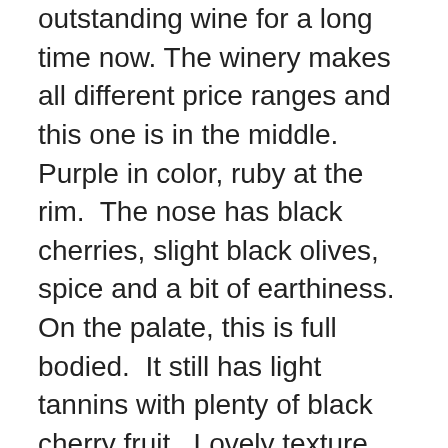This is and has been a go to value in outstanding wine for a long time now. The winery makes all different price ranges and this one is in the middle. Purple in color, ruby at the rim.  The nose has black cherries, slight black olives, spice and a bit of earthiness.  On the palate, this is full bodied.  It still has light tannins with plenty of black cherry fruit.  Lovely texture.  Nice finish.  It is drinking well but can still probably improve a bit as it gets to peak.  Let's say three to five more years until peak and another ten to twelve of prime drinking after that.  It drinks well